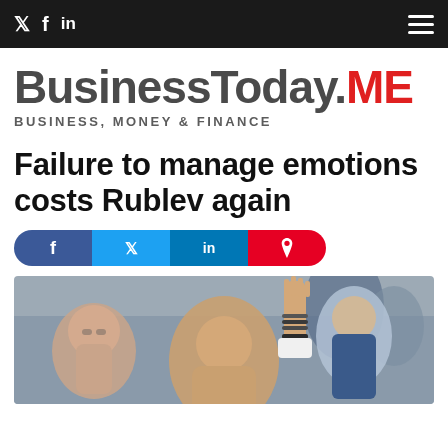𝕏 f in  ☰
[Figure (logo): BusinessToday.ME logo with tagline BUSINESS, MONEY & FINANCE]
Failure to manage emotions costs Rublev again
[Figure (infographic): Social share buttons: Facebook, Twitter, LinkedIn, Pinterest]
[Figure (photo): Photo of people including someone raising their hand with bracelets, blurred background with crowd]